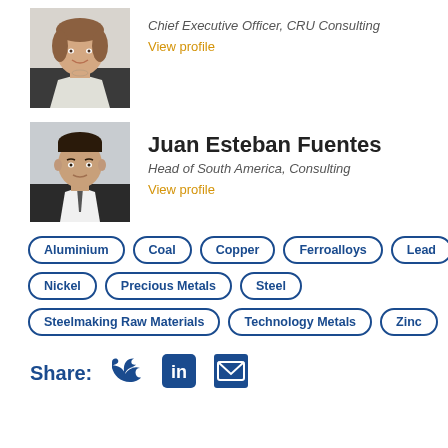[Figure (photo): Profile photo of a woman, Chief Executive Officer at CRU Consulting]
Chief Executive Officer, CRU Consulting
View profile
[Figure (photo): Profile photo of Juan Esteban Fuentes]
Juan Esteban Fuentes
Head of South America, Consulting
View profile
Aluminium
Coal
Copper
Ferroalloys
Lead
Nickel
Precious Metals
Steel
Steelmaking Raw Materials
Technology Metals
Zinc
Share: